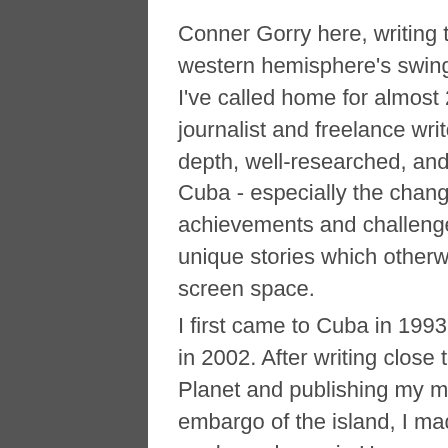Conner Gorry here, writing to you from Havana, the western hemisphere's swinging-est hot spot and the city I've called home for almost 20 years. I'm a professional journalist and freelance writer dedicated to sharing in-depth, well-researched, and accurate information about Cuba - especially the changes happening on the island, the achievements and challenges of the health system, and unique stories which otherwise wouldn't see column or screen space.
I first came to Cuba in 1993 and moved here permanently in 2002. After writing close to 20 guidebooks for Lonely Planet and publishing my master's thesis on the US embargo of the island, I made the leap and have since made my home in Havana where I am officially accredited by the International Press Center. For over a decade, I've covered the Cuban health system for MEDICC Review, filed stories for The Guardian, the New York Daily News, The Lancet, the Irish Times, the BBC...